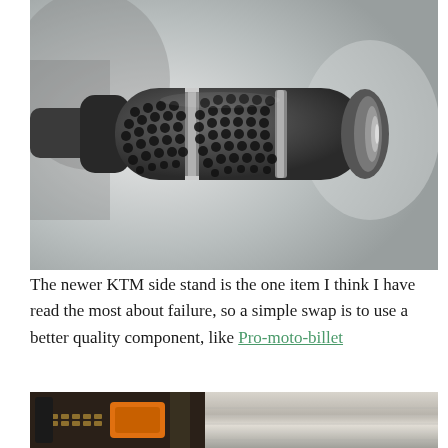[Figure (photo): Close-up photo of a motorcycle handlebar grip — a dark gray perforated rubber grip with circular holes pattern and a metallic end cap, against a blurred background.]
The newer KTM side stand is the one item I think I have read the most about failure, so a simple swap is to use a better quality component, like Pro-moto-billet
[Figure (photo): Close-up photo of a motorcycle footpeg/side stand area showing orange and black metal components, chain, and a brushed aluminum or silver rail behind.]